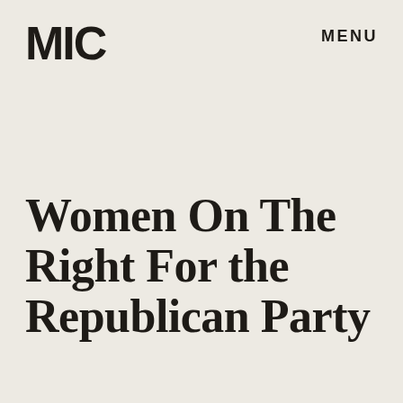MIC
MENU
Women On The Right For the Republican Party